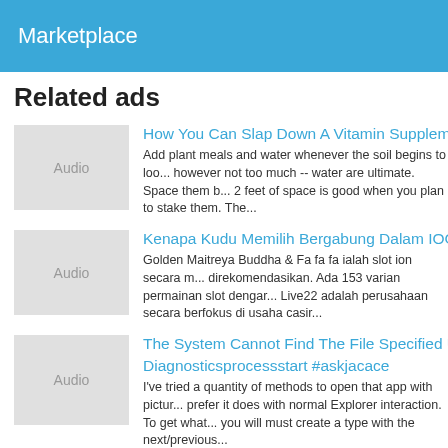Marketplace
Related ads
How You Can Slap Down A Vitamin Supplement...
Add plant meals and water whenever the soil begins to loo... however not too much -- water are ultimate. Space them b... 2 feet of space is good when you plan to stake them. The...
Kenapa Kudu Memilih Bergabung Dalam IOG...
Golden Maitreya Buddha & Fa fa fa ialah slot ion secara m... direkomendasikan. Ada 153 varian permainan slot dengar... Live22 adalah perusahaan secara berfokus di usaha casir...
The System Cannot Find The File Specified U... Diagnosticsprocessstart #askjacace
I've tried a quantity of methods to open that app with pictur... prefer it does with normal Explorer interaction. To get what... you will must create a type with the next/previous...
7 Methods To Master Japanese Garden Arr...